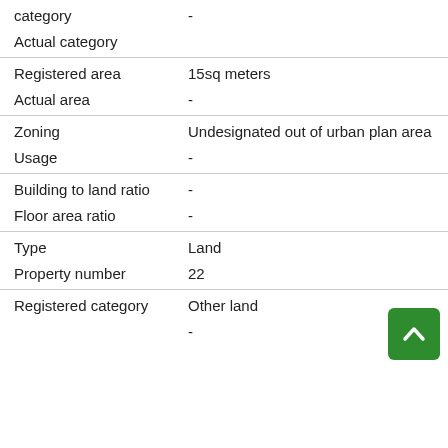| Field | Value |
| --- | --- |
| category | - |
| Actual category |  |
| Registered area | 15sq meters |
| Actual area | - |
| Zoning | Undesignated out of urban plan area |
| Usage | - |
| Building to land ratio | - |
| Floor area ratio | - |
| Type | Land |
| Property number | 22 |
| Registered category | Other land |
|  | - |